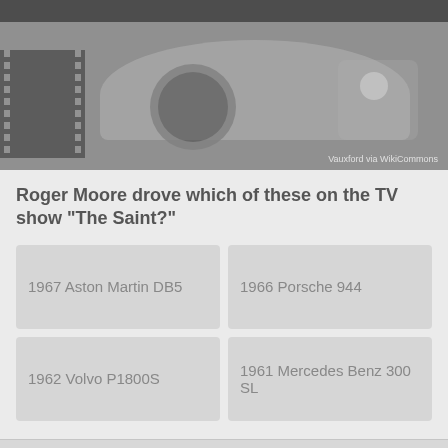[Figure (photo): Grayscale photo of a classic vintage car (Volvo P1800) with film strip elements on the left side. Credit: Vauxford via WikiCommons]
Roger Moore drove which of these on the TV show "The Saint?"
1967 Aston Martin DB5
1966 Porsche 944
1962 Volvo P1800S
1961 Mercedes Benz 300 SL
Advertisement